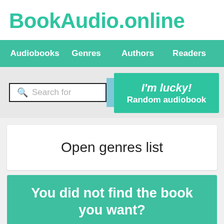BookAudio.online
Audiobooks   Genres   Authors   Readers
[Figure (screenshot): Search bar with 'Search for' placeholder, a 'Search' button, and a green 'I'm lucky! Random audiobook' button]
Open genres list
You did not find the book you want?